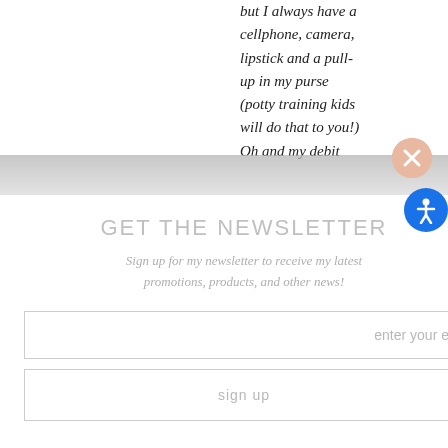but I always have a cellphone, camera, lipstick and a pull-up in my purse (potty training kids will do that to you!) Oh and my debit
GET THE NEWSLETTER
Sign up for my newsletter to receive my latest promotions, products, and other news!
enter your e
sign up